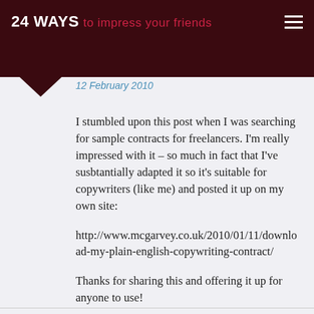24 WAYS to impress your friends
12 February 2010
I stumbled upon this post when I was searching for sample contracts for freelancers. I'm really impressed with it – so much in fact that I've susbtantially adapted it so it's suitable for copywriters (like me) and posted it up on my own site:
http://www.mcgarvey.co.uk/2010/01/11/download-my-plain-english-copywriting-contract/
Thanks for sharing this and offering it up for anyone to use!
Cheers,
John.